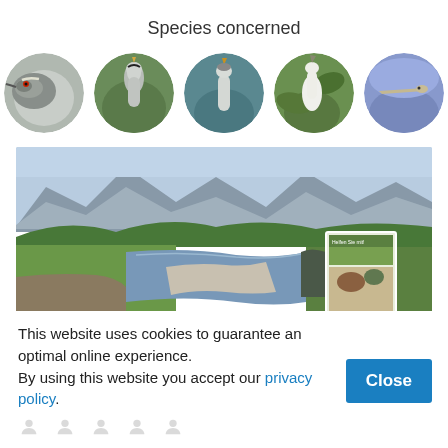Species concerned
[Figure (photo): Five circular cropped photos of heron/egret bird species]
[Figure (photo): Landscape photo of a river with mountains, grassy banks, a gravel bar, and a partially visible informational sign on the right]
This website uses cookies to guarantee an optimal online experience.
By using this website you accept our privacy policy.